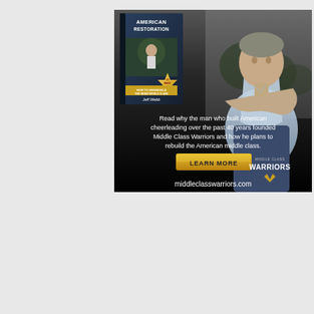[Figure (illustration): Advertisement for Middle Class Warriors featuring a book 'American Restoration' by Jeff Webb (#1 Best Seller) on the left, a man in a light blue shirt with arms crossed on the right, text reading 'Read why the man who built American cheerleading over the past 40 years founded Middle Class Warriors and how he plans to rebuild the American middle class.', a yellow 'LEARN MORE' button, 'middleclasswarriors.com' URL, and Middle Class Warriors logo.]